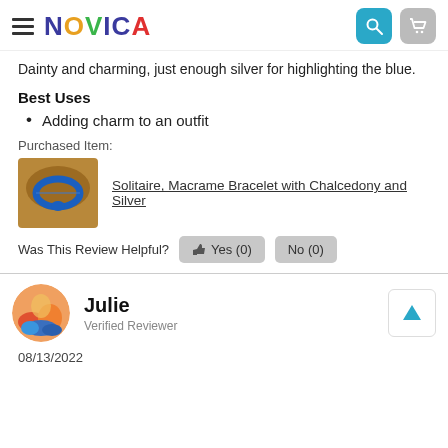NOVICA
Dainty and charming, just enough silver for highlighting the blue.
Best Uses
Adding charm to an outfit
Purchased Item:
[Figure (photo): Product thumbnail of Solitaire Macrame Bracelet with Chalcedony and Silver showing a blue bracelet]
Solitaire, Macrame Bracelet with Chalcedony and Silver
Was This Review Helpful? Yes (0) No (0)
Julie
Verified Reviewer
08/13/2022